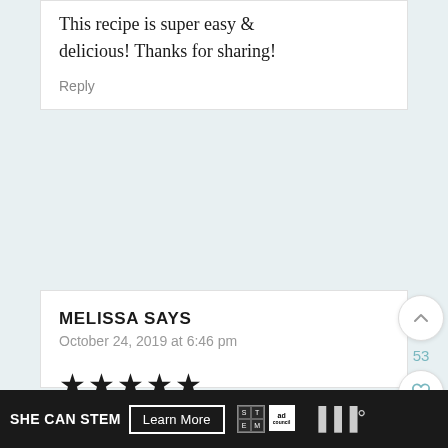This recipe is super easy & delicious! Thanks for sharing!
Reply
MELISSA SAYS
October 24, 2019 at 6:46 pm
[Figure (other): Five filled star rating icons]
One of my favorite things to have on Thanksgiving! Great recipe!
[Figure (other): SHE CAN STEM advertisement banner with Learn More button, STEM logo, and Ad Council logo]